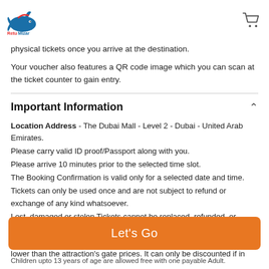[Figure (logo): Retu Mizar whale logo with colorful text]
physical tickets once you arrive at the destination.
Your voucher also features a QR code image which you can scan at the ticket counter to gain entry.
Important Information
Location Address - The Dubai Mall - Level 2 - Dubai - United Arab Emirates.
Please carry valid ID proof/Passport along with you.
Please arrive 10 minutes prior to the selected time slot.
The Booking Confirmation is valid only for a selected date and time.
Tickets can only be used once and are not subject to refund or exchange of any kind whatsoever.
Lost, damaged or stolen Tickets cannot be replaced, refunded, or exchanged in any manner.
This product must not be individually sold to an end-consumer at rates lower than the attraction's gate prices. It can only be discounted if in
Let's Go
Children upto 13 years of age are allowed free with one payable Adult.